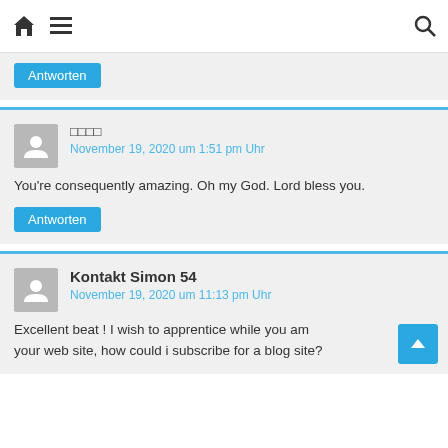Home | Menu | Search
Antworten
□□□□
November 19, 2020 um 1:51 pm Uhr
You're consequently amazing. Oh my God. Lord bless you.
Antworten
Kontakt Simon 54
November 19, 2020 um 11:13 pm Uhr
Excellent beat ! I wish to apprentice while you amend your web site, how could i subscribe for a blog site?